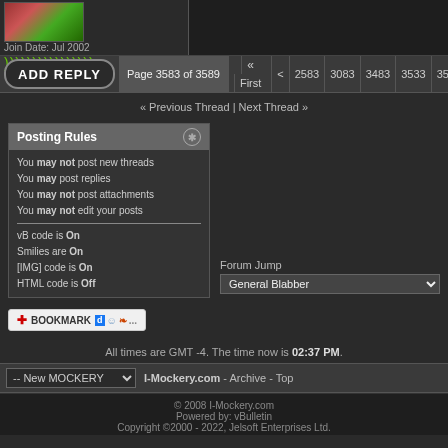[Figure (photo): Avatar image with colorful character (green and red striped)]
Join Date: Jul 2002
)))))))))))))))
ADD REPLY  Page 3583 of 3589  First < 2583 3083 3483 3533 3573 3574 3575
« Previous Thread | Next Thread »
Posting Rules
You may not post new threads
You may post replies
You may not post attachments
You may not edit your posts
vB code is On
Smilies are On
[IMG] code is On
HTML code is Off
Forum Jump
General Blabber
[Figure (other): Bookmark button with social sharing icons]
All times are GMT -4. The time now is 02:37 PM.
-- New MOCKERY  I-Mockery.com - Archive - Top
© 2008 I-Mockery.com
Powered by: vBulletin
Copyright ©2000 - 2022, Jelsoft Enterprises Ltd.